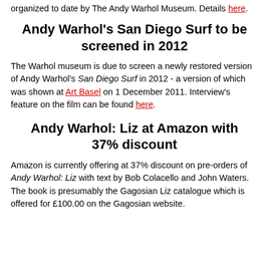organized to date by The Andy Warhol Museum. Details here.
Andy Warhol's San Diego Surf to be screened in 2012
The Warhol museum is due to screen a newly restored version of Andy Warhol's San Diego Surf in 2012 - a version of which was shown at Art Basel on 1 December 2011. Interview's feature on the film can be found here.
Andy Warhol: Liz at Amazon with 37% discount
Amazon is currently offering at 37% discount on pre-orders of Andy Warhol: Liz with text by Bob Colacello and John Waters. The book is presumably the Gagosian Liz catalogue which is offered for £100.00 on the Gagosian website.